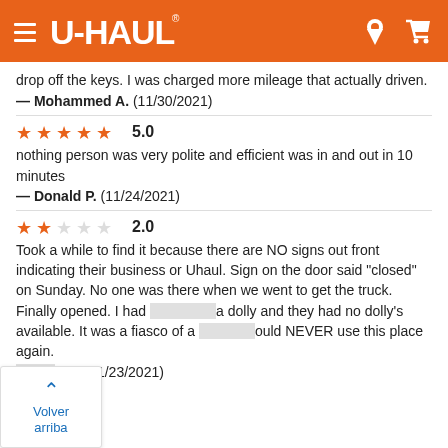U-HAUL navigation header
drop off the keys. I was charged more mileage that actually driven.
— Mohammed A.  (11/30/2021)
[Figure (other): 5-star rating: 5.0]
nothing person was very polite and efficient was in and out in 10 minutes
— Donald P.  (11/24/2021)
[Figure (other): 2-star rating: 2.0]
Took a while to find it because there are NO signs out front indicating their business or Uhaul. Sign on the door said "closed" on Sunday. No one was there when we went to get the truck. Finally opened. I had [requested] a dolly and they had no dolly's available. It was a fiasco of a [move I w]ould NEVER use this place again.
— [Denni]s B.  (11/23/2021)